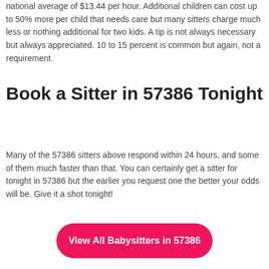national average of $13.44 per hour. Additional children can cost up to 50% more per child that needs care but many sitters charge much less or nothing additional for two kids. A tip is not always necessary but always appreciated. 10 to 15 percent is common but again, not a requirement.
Book a Sitter in 57386 Tonight
Many of the 57386 sitters above respond within 24 hours, and some of them much faster than that. You can certainly get a sitter for tonight in 57386 but the earlier you request one the better your odds will be. Give it a shot tonight!
View All Babysitters in 57386